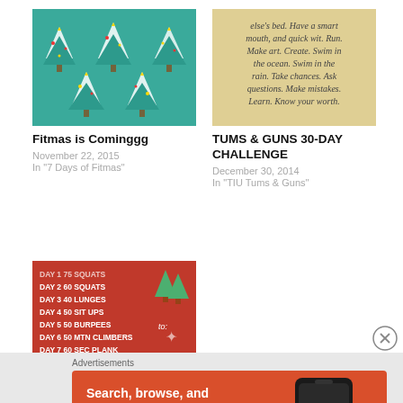[Figure (photo): Thumbnail image of teal Christmas tree pattern - Fitmas is Cominggg post]
Fitmas is Cominggg
November 22, 2015
In "7 Days of Fitmas"
[Figure (photo): Thumbnail image of inspirational quote text on aged paper - TUMS & GUNS 30-DAY CHALLENGE post]
TUMS & GUNS 30-DAY CHALLENGE
December 30, 2014
In "TIU Tums & Guns"
[Figure (photo): Thumbnail of red fitness challenge graphic with daily exercise list]
[Figure (illustration): DuckDuckGo advertisement: Search, browse, and email with more privacy. All in One Free App.]
Advertisements
Search, browse, and email with more privacy.
All in One Free App